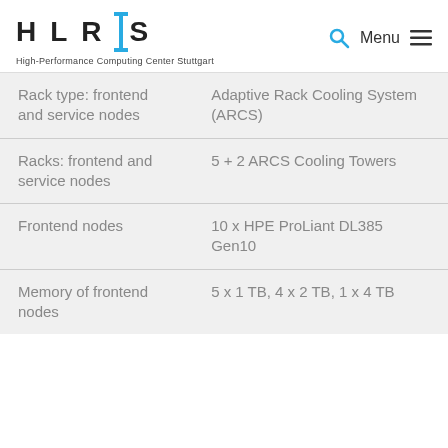HLRIS - High-Performance Computing Center Stuttgart
| Property | Value |
| --- | --- |
| Rack type: frontend and service nodes | Adaptive Rack Cooling System (ARCS) |
| Racks: frontend and service nodes | 5 + 2 ARCS Cooling Towers |
| Frontend nodes | 10 x HPE ProLiant DL385 Gen10 |
| Memory of frontend nodes | 5 x 1 TB, 4 x 2 TB, 1 x 4 TB |